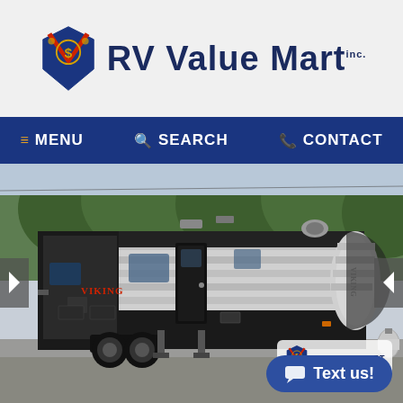[Figure (logo): RV Value Mart Inc. logo with stylized shield/compass graphic and blue bold text]
≡ MENU  🔍 SEARCH  📞 CONTACT
[Figure (photo): Exterior photo of a Viking travel trailer RV parked in a lot with trees in background. The RV has black and silver/white striped siding with 'VIKING' branding. Dual axle wheels visible. A propane tank is visible at the rear hitch area.]
Text us!